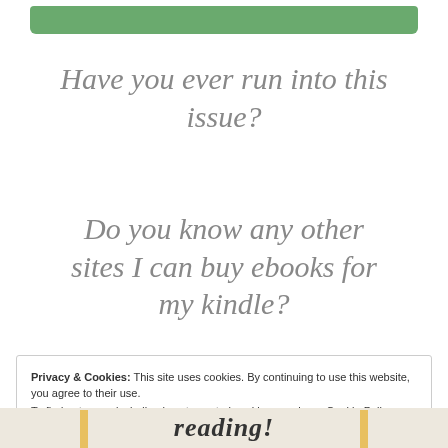[Figure (illustration): Green brushstroke/bar decorative element at the top of the page]
Have you ever run into this issue?
Do you know any other sites I can buy ebooks for my kindle?
Privacy & Cookies: This site uses cookies. By continuing to use this website, you agree to their use.
To find out more, including how to control cookies, see here: Cookie Policy
Close and accept
[Figure (illustration): Bottom decorative strip with cursive 'reading!' text and vertical yellow bar accents on a beige/newsprint background]